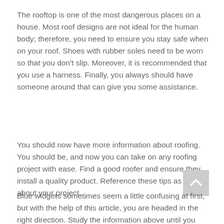The rooftop is one of the most dangerous places on a house. Most roof designs are not ideal for the human body; therefore, you need to ensure you stay safe when on your roof. Shoes with rubber soles need to be worn so that you don't slip. Moreover, it is recommended that you use a harness. Finally, you always should have someone around that can give you some assistance.
You should now have more information about roofing. You should be, and now you can take on any roofing project with ease. Find a good roofer and ensure they install a quality product. Reference these tips as you go about your project.
Blue widgets sometimes seem a little confusing at first, but with the help of this article, you are headed in the right direction. Study the information above until you understand